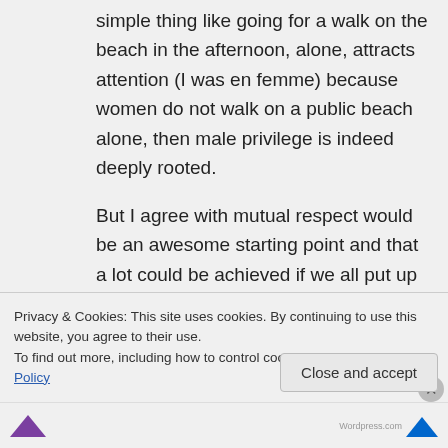simple thing like going for a walk on the beach in the afternoon, alone, attracts attention (I was en femme) because women do not walk on a public beach alone, then male privilege is indeed deeply rooted.
But I agree with mutual respect would be an awesome starting point and that a lot could be achieved if we all put up with less abuse. The trouble is when societal systems prevent you from doing that...
Privacy & Cookies: This site uses cookies. By continuing to use this website, you agree to their use.
To find out more, including how to control cookies, see here: Cookie Policy
Close and accept